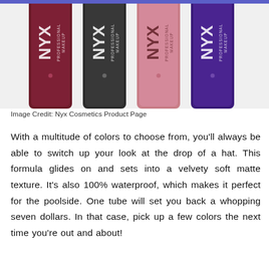[Figure (photo): Four NYX Professional Makeup lipstick tubes shown partially cropped at top: dark burgundy/red, dark charcoal/black, pink/mauve, and purple, each branded with NYX PROFESSIONAL MAKEUP logo]
Image Credit: Nyx Cosmetics Product Page
With a multitude of colors to choose from, you'll always be able to switch up your look at the drop of a hat. This formula glides on and sets into a velvety soft matte texture. It's also 100% waterproof, which makes it perfect for the poolside. One tube will set you back a whopping seven dollars. In that case, pick up a few colors the next time you're out and about!